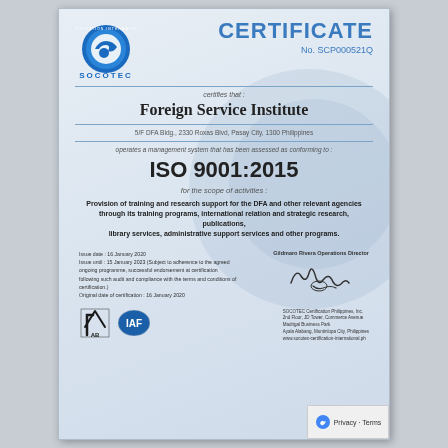[Figure (logo): SOCOTEC International Certification logo — blue circular emblem with stylized arrow/check mark, text SOCOTEC below]
CERTIFICATE
No. SCP000521Q
certifies that :
Foreign Service Institute
5/F DFA Bldg., 2330 Roxas Blvd, Pasay City, 1300 Philippines
operates a management system that has been assessed as conforming to :
ISO 9001:2015
for the scope of activities :
Provision of training and research support for the DFA and other relevant agencies through its training programs, international relation and strategic research, publications, library services, administrative support services and other programs.
Issue date : 16 January 2020
Issue until : 15 January 2023 (Subject to adherence to the agreed ongoing programme, successful endorsement at certification following each audit and compliance with the terms and conditions of certification.)
Original date of certification : 16 January 2020
Gildmaro Rivera Operations Director
[Figure (logo): PAB accreditation logo]
[Figure (logo): IAF logo]
SOCOTEC Certification Philippines, Inc.
2nd Floor, JD Tower, Commerce Avenue
Madrigal Business Park
Ayala Alabang, Muntinlupa City, Philippines
www.socotec-certification-international.ph